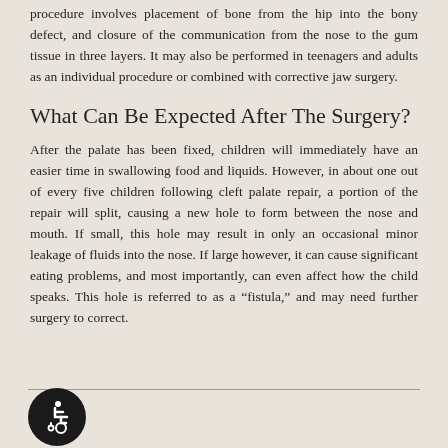procedure involves placement of bone from the hip into the bony defect, and closure of the communication from the nose to the gum tissue in three layers. It may also be performed in teenagers and adults as an individual procedure or combined with corrective jaw surgery.
What Can Be Expected After The Surgery?
After the palate has been fixed, children will immediately have an easier time in swallowing food and liquids. However, in about one out of every five children following cleft palate repair, a portion of the repair will split, causing a new hole to form between the nose and mouth. If small, this hole may result in only an occasional minor leakage of fluids into the nose. If large however, it can cause significant eating problems, and most importantly, can even affect how the child speaks. This hole is referred to as a “fistula,” and may need further surgery to correct.
[Figure (illustration): Wheelchair accessibility icon: white wheelchair symbol on dark circular background]